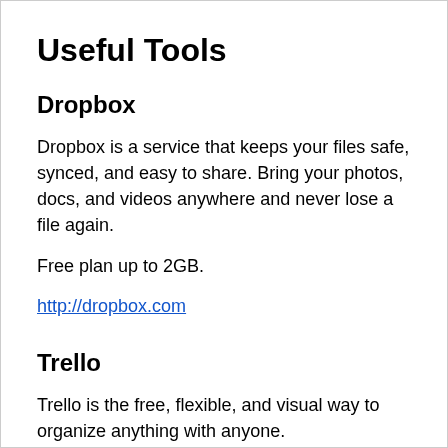Useful Tools
Dropbox
Dropbox is a service that keeps your files safe, synced, and easy to share. Bring your photos, docs, and videos anywhere and never lose a file again.
Free plan up to 2GB.
http://dropbox.com
Trello
Trello is the free, flexible, and visual way to organize anything with anyone.
Drop the lengthy email threads, out-of-date spreadsheets, no-longer-so-sticky notes, and clunky software for managing your projects. Trello lets you